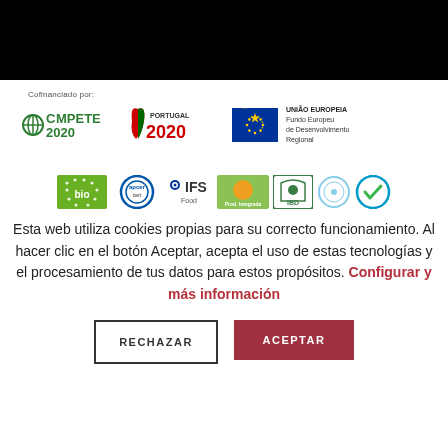[Figure (logo): Black header bar at top of page]
Cofinanciado por:
[Figure (logo): COMPETE 2020, PORTUGAL 2020, and UNIÃO EUROPEIA / Fundo Europeu de Desenvolvimento Regional logos]
[Figure (logo): Row of certification logos: organic/bio EU star logo, APCER NP, IFS Food, Produção Integrada, IBD, and other certification marks]
Esta web utiliza cookies propias para su correcto funcionamiento. Al hacer clic en el botón Aceptar, acepta el uso de estas tecnologías y el procesamiento de tus datos para estos propósitos. Configurar y más información
RECHAZAR
ACEPTAR